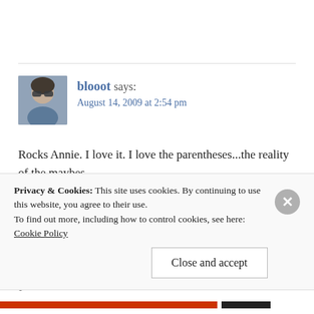[Figure (photo): Avatar photo of a woman wearing sunglasses, small square profile image]
blooot says:
August 14, 2009 at 2:54 pm
Rocks Annie. I love it. I love the parentheses...the reality of the maybes.
LOL, Jess...
Rocks? Like rocks in my head – I wouldn't doubt it. 😆 Just
Privacy & Cookies: This site uses cookies. By continuing to use this website, you agree to their use.
To find out more, including how to control cookies, see here: Cookie Policy
Close and accept